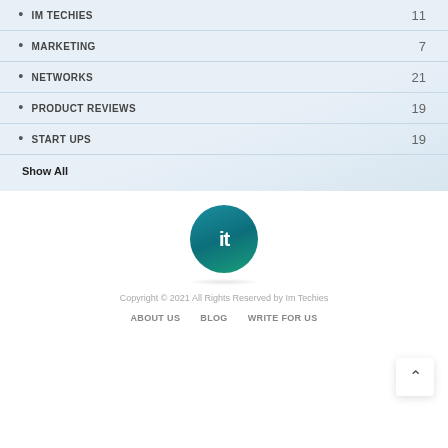IM TECHIES 11
MARKETING 7
NETWORKS 21
PRODUCT REVIEWS 19
START UPS 19
Show All
[Figure (logo): Im Techies logo: teal circle with white lowercase 'it' text]
Copyright © 2021 All Rights Reserved by Im Techies
ABOUT US   BLOG   WRITE FOR US